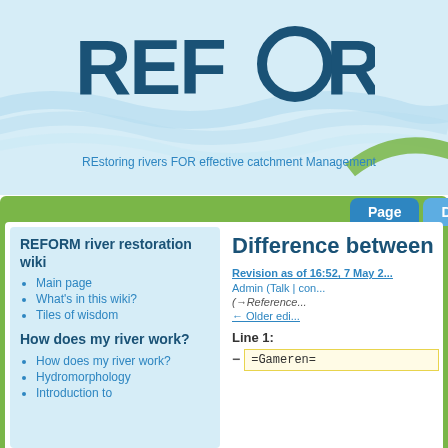[Figure (logo): REFORM logo with blue wave graphic and text 'REstoring rivers FOR effective catchment Management']
REstoring rivers FOR effective catchment Management
Difference between
Revision as of 16:52, 7 May 2...
Admin (Talk | con...
(→Reference...
← Older edi...
REFORM river restoration wiki
Main page
What's in this wiki?
Tiles of wisdom
How does my river work?
How does my river work?
Hydromorphology
Introduction to
Line 1:
=Gameren=